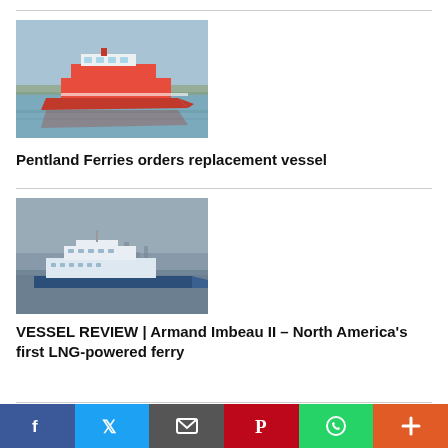[Figure (photo): A red and white high-speed catamaran ferry on calm water near a shoreline.]
Pentland Ferries orders replacement vessel
[Figure (photo): A grey-toned photo of a white and blue ferry vessel on water with a city skyline in the background.]
VESSEL REVIEW | Armand Imbeau II – North America's first LNG-powered ferry